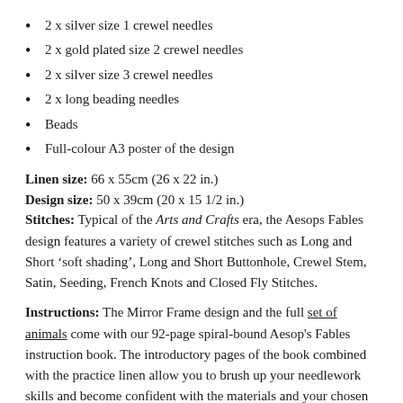2 x silver size 1 crewel needles
2 x gold plated size 2 crewel needles
2 x silver size 3 crewel needles
2 x long beading needles
Beads
Full-colour A3 poster of the design
Linen size: 66 x 55cm (26 x 22 in.)
Design size: 50 x 39cm (20 x 15 1/2 in.)
Stitches: Typical of the Arts and Crafts era, the Aesops Fables design features a variety of crewel stitches such as Long and Short ‘soft shading’, Long and Short Buttonhole, Crewel Stem, Satin, Seeding, French Knots and Closed Fly Stitches.
Instructions: The Mirror Frame design and the full set of animals come with our 92-page spiral-bound Aesop's Fables instruction book. The introductory pages of the book combined with the practice linen allow you to brush up your needlework skills and become confident with the materials and your chosen equipment before embarking on the design.